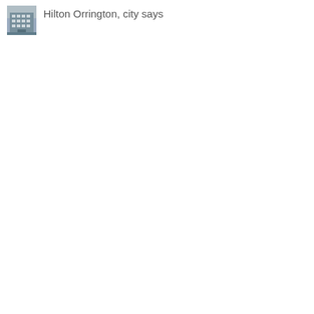[Figure (photo): Small thumbnail image of a building exterior, appears to be the Hilton Orrington hotel.]
Hilton Orrington, city says